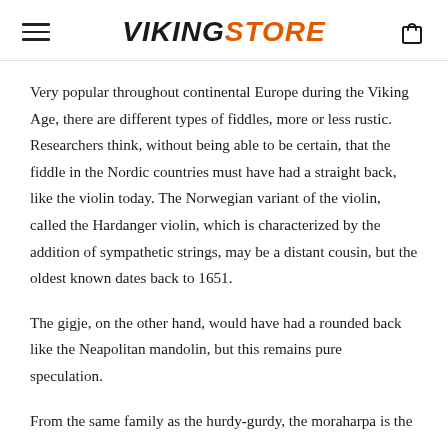VIKINGSTORE
Very popular throughout continental Europe during the Viking Age, there are different types of fiddles, more or less rustic. Researchers think, without being able to be certain, that the fiddle in the Nordic countries must have had a straight back, like the violin today. The Norwegian variant of the violin, called the Hardanger violin, which is characterized by the addition of sympathetic strings, may be a distant cousin, but the oldest known dates back to 1651.
The gigje, on the other hand, would have had a rounded back like the Neapolitan mandolin, but this remains pure speculation.
From the same family as the hurdy-gurdy, the moraharpa is the